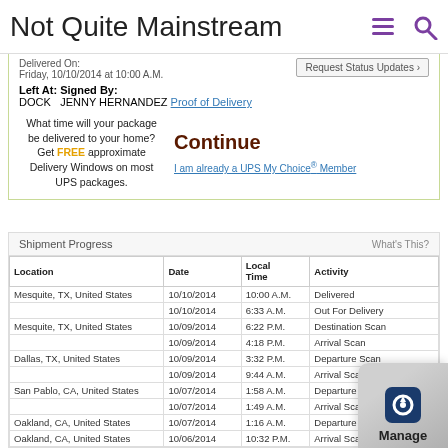Not Quite Mainstream
Delivered On:
Friday, 10/10/2014 at 10:00 A.M.
Left At:
DOCK
Signed By:
JENNY HERNANDEZ
Proof of Delivery
What time will your package be delivered to your home? Get FREE approximate Delivery Windows on most UPS packages.
Continue
I am already a UPS My Choice® Member
Shipment Progress
What's This?
| Location | Date | Local
Time | Activity |
| --- | --- | --- | --- |
| Mesquite, TX, United States | 10/10/2014 | 10:00 A.M. | Delivered |
|  | 10/10/2014 | 6:33 A.M. | Out For Delivery |
| Mesquite, TX, United States | 10/09/2014 | 6:22 P.M. | Destination Scan |
|  | 10/09/2014 | 4:18 P.M. | Arrival Scan |
| Dallas, TX, United States | 10/09/2014 | 3:32 P.M. | Departure Scan |
|  | 10/09/2014 | 9:44 A.M. | Arrival Scan |
| San Pablo, CA, United States | 10/07/2014 | 1:58 A.M. | Departure Scan |
|  | 10/07/2014 | 1:49 A.M. | Arrival Scan |
| Oakland, CA, United States | 10/07/2014 | 1:16 A.M. | Departure Scan |
| Oakland, CA, United States | 10/06/2014 | 10:32 P.M. | Arrival Scan |
| San Francisco, CA, United States | 10/06/2014 | 9:12 P.M. | Departure Scan |
| San Francisco, CA, United States | 10/04/2014 | 12:46 P.M. | The shipment has been dropped off and left at The UPS Store®. |
| United States | 09/30/2014 | 4:03 P.M. | Order Processed: Ready for UPS |